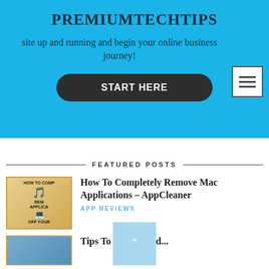PREMIUMTECHTIPS
site up and running and begin your online business journey!
START HERE
FEATURED POSTS
[Figure (illustration): Thumbnail image for 'How To Completely Remove Mac Applications' article showing cartoon characters and a Mac laptop with text HOW TO COMP REM APPLICA OFF YOUR]
How To Completely Remove Mac Applications – AppCleaner
APP REVIEWS
[Figure (illustration): Partial thumbnail for a second featured post, showing blue tones]
Tips To Get Started...